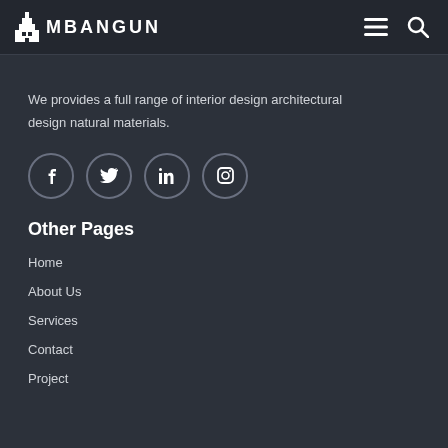MBANGUN
We provides a full range of interior design architectural design natural materials.
[Figure (other): Social media icons: Facebook, Twitter, LinkedIn, Instagram in circular outlines]
Other Pages
Home
About Us
Services
Contact
Project